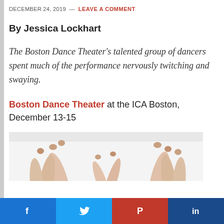DECEMBER 24, 2019 — LEAVE A COMMENT
By Jessica Lockhart
The Boston Dance Theater's talented group of dancers spent much of the performance nervously twitching and swaying.
Boston Dance Theater at the ICA Boston, December 13-15
[Figure (photo): Dancers with arms raised against a white background]
Social sharing buttons: Facebook, Twitter, Pinterest, LinkedIn